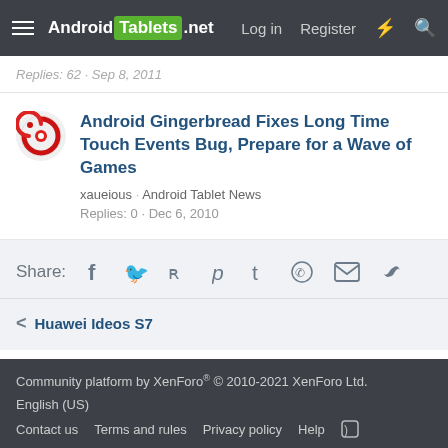Android Tablets .net  Log in  Register
Replies: 62 · Sep 8, 2011
Android Gingerbread Fixes Long Time Touch Events Bug, Prepare for a Wave of Games
xaueious · Android Tablet News
Replies: 0 · Dec 6, 2010
Share:
< Huawei Ideos S7
Community platform by XenForo® © 2010-2021 XenForo Ltd. English (US) Contact us  Terms and rules  Privacy policy  Help